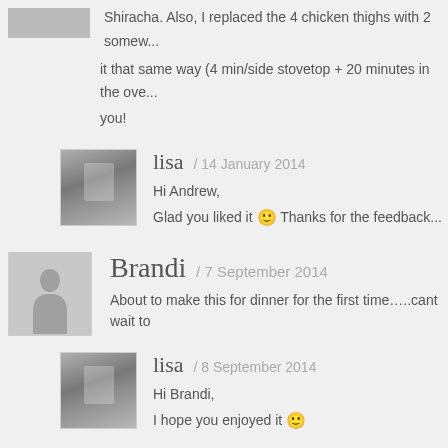Shiracha. Also, I replaced the 4 chicken thighs with 2 somew... it that same way (4 min/side stovetop + 20 minutes in the ove... you!
lisa / 14 January 2014
Hi Andrew,
Glad you liked it 🙂 Thanks for the feedback
Brandi / 7 September 2014
About to make this for dinner for the first time…..cant wait to
lisa / 8 September 2014
Hi Brandi,
I hope you enjoyed it 🙂